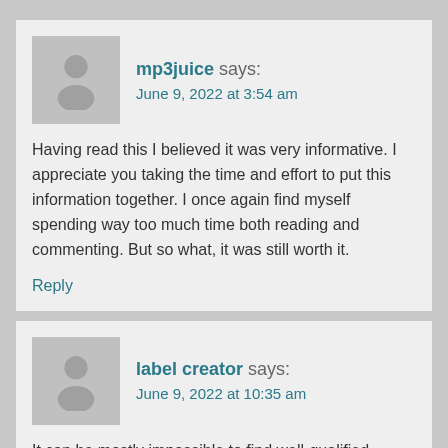mp3juice says: June 9, 2022 at 3:54 am
Having read this I believed it was very informative. I appreciate you taking the time and effort to put this information together. I once again find myself spending way too much time both reading and commenting. But so what, it was still worth it.
Reply
label creator says: June 9, 2022 at 10:35 am
It can be mostly impossible to find well-qualified people on this niche, in addition you appear like you be aware of those things you're raving about! Thank You
Reply